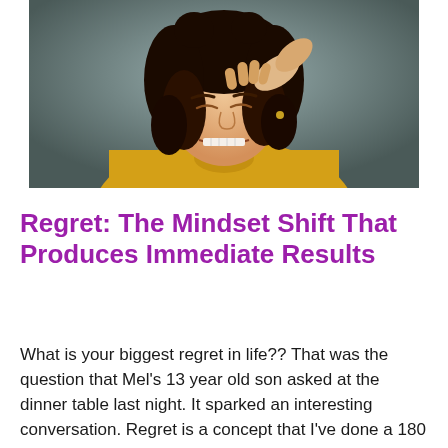[Figure (photo): A young woman with curly dark hair, wearing a yellow sleeveless top, pressing her hand to her forehead with eyes shut and teeth clenched, expressing stress or regret. Grey/neutral background.]
Regret: The Mindset Shift That Produces Immediate Results
What is your biggest regret in life?? That was the question that Mel's 13 year old son asked at the dinner table last night. It sparked an interesting conversation. Regret is a concept that I've done a 180 on. I used to say that I